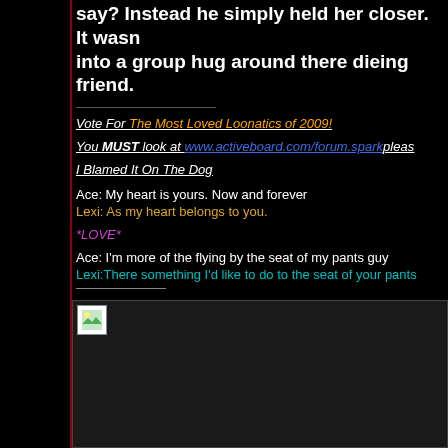say? Instead he simply held her closer. It wasn into a group hug around there dieing friend.
Vote For The Most Loved Loonatics of 2009!
You MUST look at www.activeboard.com/forum.sparkpleas
I Blamed It On The Dog
Ace: My heart is yours. Now and forever
Lexi: As my heart belongs to you.
*LOVE*
Ace: I'm more of the flying by the seat of my pants guy
Lexi:There something I'd like to do to the seat of your pants
[Figure (photo): A partially loaded or broken image placeholder in a dark content box]